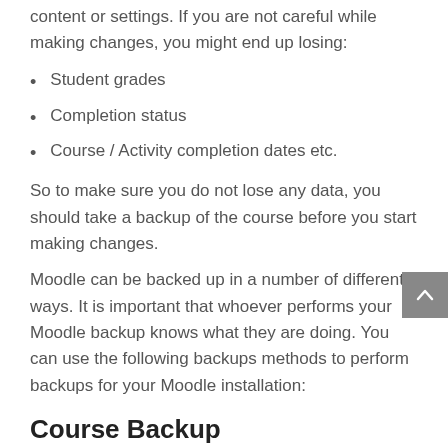content or settings. If you are not careful while making changes, you might end up losing:
Student grades
Completion status
Course / Activity completion dates etc.
So to make sure you do not lose any data, you should take a backup of the course before you start making changes.
Moodle can be backed up in a number of different ways. It is important that whoever performs your Moodle backup knows what they are doing. You can use the following backups methods to perform backups for your Moodle installation:
Course Backup